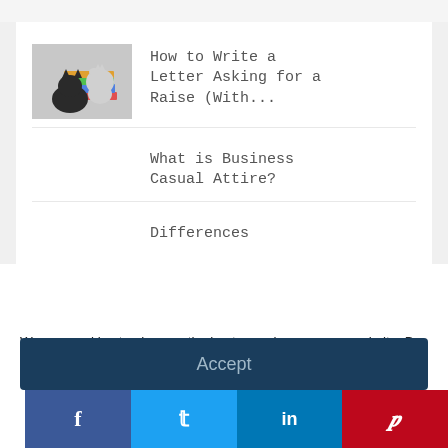[Figure (screenshot): Top bar / search area background strip]
How to Write a Letter Asking for a Raise (With...
What is Business Casual Attire?
Differences
We use cookies to give you the best experience on our website. By clicking 'Accept' you are consenting to the use of this data as outlined in our Privacy and Cookie Policy.
Accept